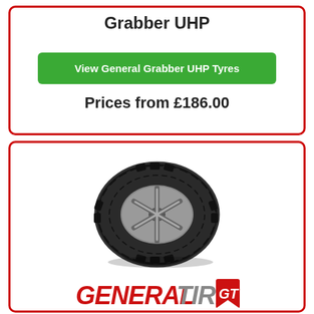Grabber UHP
View General Grabber UHP Tyres
Prices from £186.00
[Figure (photo): A General Tire off-road tyre mounted on an alloy wheel, photographed at an angle showing the aggressive tread pattern]
[Figure (logo): GENERAL TIRE logo with GT emblem in red and grey]